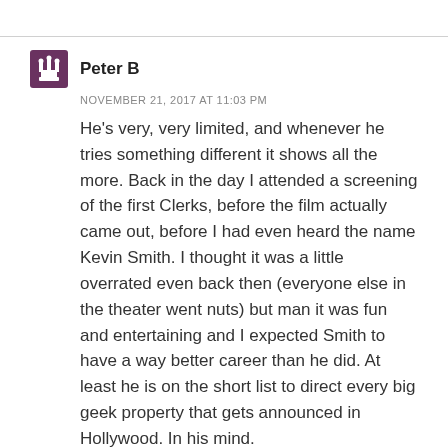Peter B
NOVEMBER 21, 2017 AT 11:03 PM
He's very, very limited, and whenever he tries something different it shows all the more. Back in the day I attended a screening of the first Clerks, before the film actually came out, before I had even heard the name Kevin Smith. I thought it was a little overrated even back then (everyone else in the theater went nuts) but man it was fun and entertaining and I expected Smith to have a way better career than he did. At least he is on the short list to direct every big geek property that gets announced in Hollywood. In his mind.